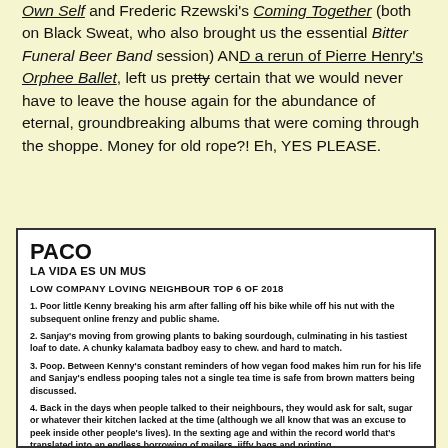Own Self and Frederic Rzewski's Coming Together (both on Black Sweat, who also brought us the essential Bitter Funeral Beer Band session) AND a rerun of Pierre Henry's Orphee Ballet, left us pretty certain that we would never have to leave the house again for the abundance of eternal, groundbreaking albums that were coming through the shoppe. Money for old rope?! Eh, YES PLEASE.
PACO
LA VIDA ES UN MUS
LOW COMPANY LOVING NEIGHBOUR TOP 6 OF 2018
1. Poor little Kenny breaking his arm after falling off his bike while off his nut with the subsequent online frenzy and public shame.
2. Sanjay's moving from growing plants to baking sourdough, culminating in his tastiest loaf to date. A chunky kalamata badboy easy to chew. and hard to match.
3. Poop. Between Kenny's constant reminders of how vegan food makes him run for his life and Sanjay's endless pooping tales not a single tea time is safe from brown matters being discussed.
4. Back in the days when people talked to their neighbours, they would ask for salt, sugar or whatever their kitchen lacked at the time (although we all know that was an excuse to peek inside other people's lives). In the sexting age and within the record world that's translated into an endless borrowing of mailers, jiffy bags and printing